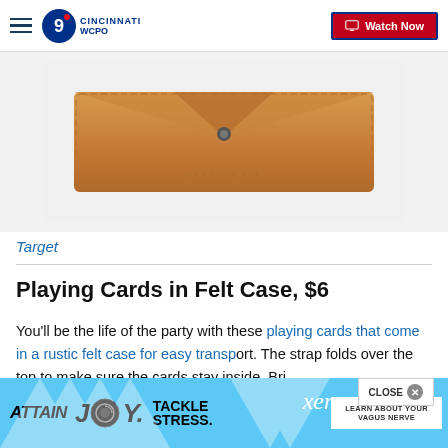WCPO 9 CINCINNATI | Watch Now
[Figure (photo): A tan/caramel leather envelope-style card case with a snap button closure and V-shaped flap, photographed on a light gray background.]
Target
Playing Cards in Felt Case, $6
You’ll be the life of the party with these playing cards that come in a rustic felt case for easy transport. The strap folds over the top to make sure the cards stay inside. Bri…
[Figure (screenshot): Ad banner: ATTAIN JOY. TACKLE STRESS. xen LEARN ABOUT YOUR VAGUS NERVE with close button]